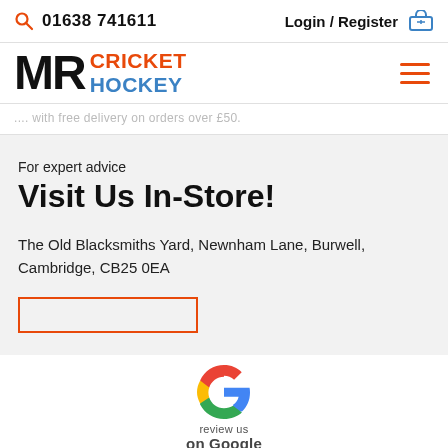🔍 01638 741611   Login / Register 🛒
[Figure (logo): MR Cricket Hockey logo with orange MR text and orange CRICKET / blue HOCKEY stacked text]
... with free delivery on orders over £50.
For expert advice
Visit Us In-Store!
The Old Blacksmiths Yard, Newnham Lane, Burwell, Cambridge, CB25 0EA
[Figure (logo): Google G logo multicolor with 'review us on Google' text below]